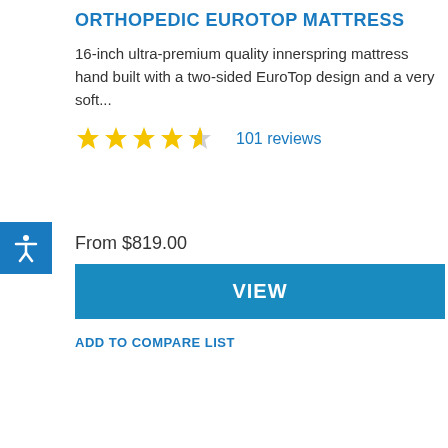ORTHOPEDIC EUROTOP MATTRESS
16-inch ultra-premium quality innerspring mattress hand built with a two-sided EuroTop design and a very soft...
★★★★½ 101 reviews
From $819.00
VIEW
ADD TO COMPARE LIST